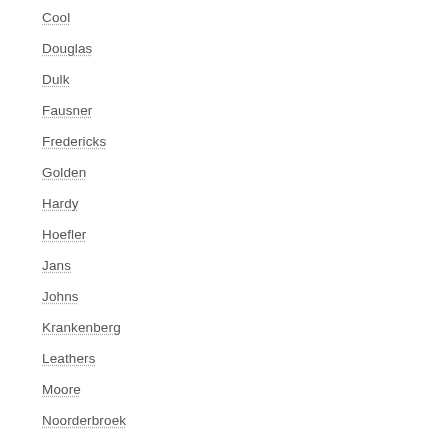Cool
Douglas
Dulk
Fausner
Fredericks
Golden
Hardy
Hoefler
Jans
Johns
Krankenberg
Leathers
Moore
Noorderbroek